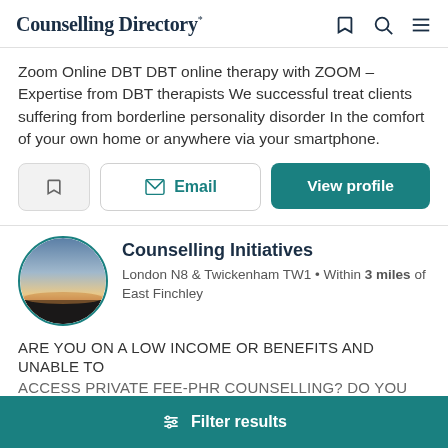Counselling Directory
Zoom Online DBT DBT online therapy with ZOOM – Expertise from DBT therapists We successful treat clients suffering from borderline personality disorder In the comfort of your own home or anywhere via your smartphone.
[Figure (screenshot): Three buttons: bookmark icon button, Email button, View profile button (teal)]
[Figure (photo): Circular avatar with a sunset/landscape photo, teal border]
Counselling Initiatives
London N8 & Twickenham TW1 • Within 3 miles of East Finchley
ARE YOU ON A LOW INCOME OR BENEFITS AND UNABLE TO ACCESS PRIVATE FEE-PHR COUNSELLING? DO YOU NEED
Filter results